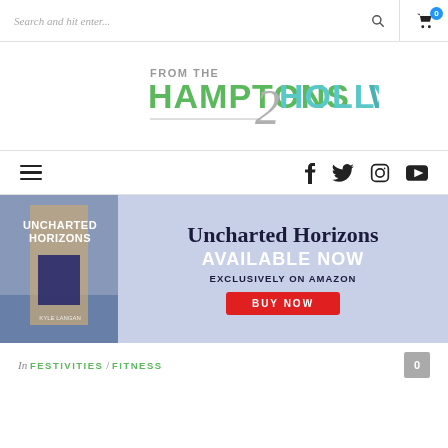Search and hit enter... [search icon] [cart 0]
[Figure (logo): From The Hamptons 2 Hollywood logo — green and teal stylized text]
[Figure (infographic): Navigation bar with hamburger menu on left and social icons (Facebook, Twitter, Instagram, YouTube) on right]
[Figure (infographic): Banner advertisement for 'Uncharted Horizons' book by Kyle Langan — available now exclusively on Amazon, BUY NOW button]
In FESTIVITIES / FITNESS
0